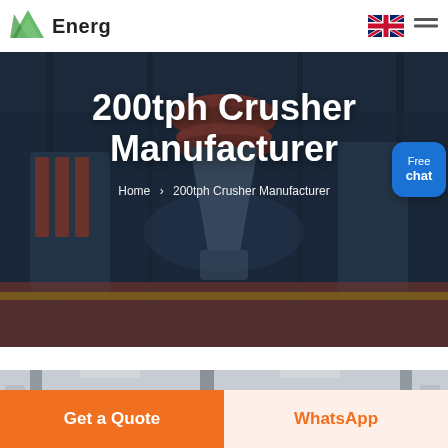Energ
200tph Crusher Manufacturer
Home > 200tph Crusher Manufacturer
[Figure (photo): Industrial crusher machinery in a factory setting with people posing around the equipment]
[Figure (photo): Factory interior showing industrial equipment and machinery]
Get a Quote
WhatsApp